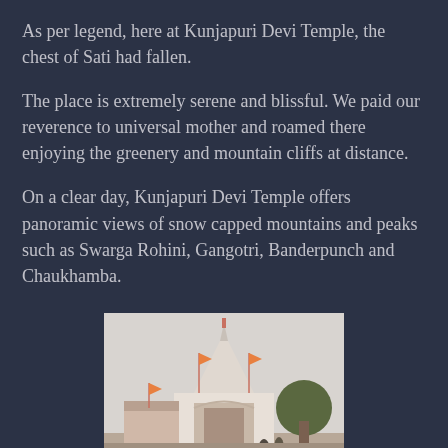As per legend, here at Kunjapuri Devi Temple, the chest of Sati had fallen.
The place is extremely serene and blissful. We paid our reverence to universal mother and roamed there enjoying the greenery and mountain cliffs at distance.
On a clear day, Kunjapuri Devi Temple offers panoramic views of snow capped mountains and peaks such as Swarga Rohini, Gangotri, Banderpunch and Chaukhamba.
[Figure (photo): Photograph of Kunjapuri Devi Temple showing the white temple spire with saffron flags, entrance gate, and trees in the background under an overcast sky.]